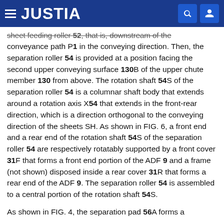JUSTIA
sheet feeding roller 52, that is, downstream of the conveyance path P1 in the conveying direction. Then, the separation roller 54 is provided at a position facing the second upper conveying surface 130B of the upper chute member 130 from above. The rotation shaft 54S of the separation roller 54 is a columnar shaft body that extends around a rotation axis X54 that extends in the front-rear direction, which is a direction orthogonal to the conveying direction of the sheets SH. As shown in FIG. 6, a front end and a rear end of the rotation shaft 54S of the separation roller 54 are respectively rotatably supported by a front cover 31F that forms a front end portion of the ADF 9 and a frame (not shown) disposed inside a rear cover 31R that forms a rear end of the ADF 9. The separation roller 54 is assembled to a central portion of the rotation shaft 54S.
As shown in FIG. 4, the separation pad 56A forms a